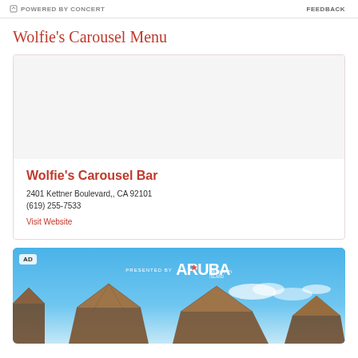POWERED BY CONCERT   FEEDBACK
Wolfie's Carousel Menu
Wolfie's Carousel Bar
2401 Kettner Boulevard,, CA 92101
(619) 255-7533
Visit Website
[Figure (photo): Advertisement banner: Presented by Aruba One Happy Island, showing thatched beach huts under a blue sky with clouds]